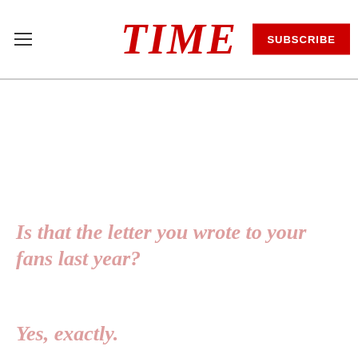TIME — SUBSCRIBE
Is that the letter you wrote to your fans last year?
Yes, exactly.